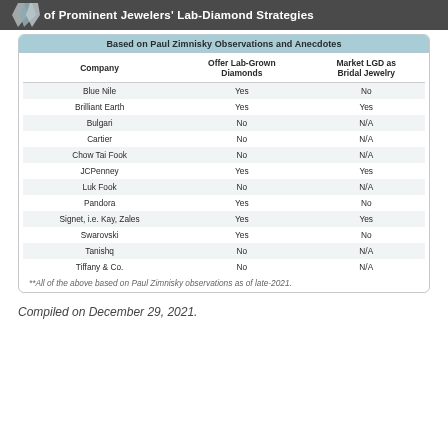of Prominent Jewelers' Lab-Diamond Strategies
| Company | Offer Lab-Grown Diamonds | Market LGD as Bridal Jewelry |
| --- | --- | --- |
| Blue Nile | Yes | No |
| Brilliant Earth | Yes | Yes |
| Bulgari | No | N/A |
| Cartier | No | N/A |
| Chow Tai Fook | No | N/A |
| JCPenney | Yes | Yes |
| Luk Fook | No | N/A |
| Pandora | Yes | No |
| Signet, i.e. Kay, Zales | Yes | Yes |
| Swarovski | Yes | No |
| Tanishq | No | N/A |
| Tiffany & Co. | No | N/A |
**All of the above based on Paul Zimnisky observations as of late-2021.
Compiled on December 29, 2021.